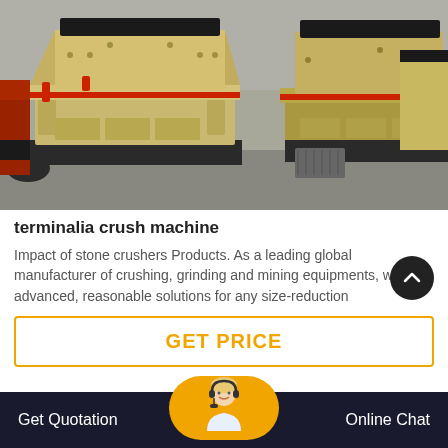[Figure (photo): Multiple large yellow/tan industrial impact crusher machines lined up in a warehouse/factory setting, with red accent trim and various mechanical components visible.]
terminalia crush machine
Impact of stone crushers Products. As a leading global manufacturer of crushing, grinding and mining equipments, we offer advanced, reasonable solutions for any size-reduction
GET PRICE
Get Quotation
Online Chat